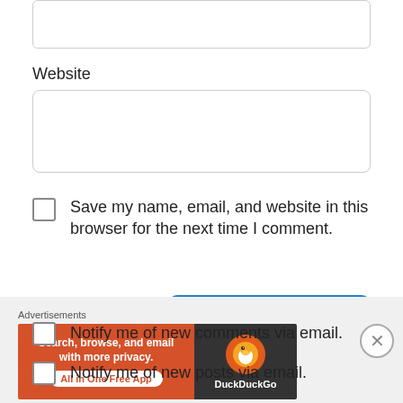[Figure (screenshot): Top portion of a text input box (cropped at top of page)]
Website
[Figure (screenshot): Website text input field (empty)]
Save my name, email, and website in this browser for the next time I comment.
[Figure (screenshot): Post Comment button (blue rounded rectangle)]
Notify me of new comments via email.
Notify me of new posts via email.
Advertisements
[Figure (screenshot): DuckDuckGo advertisement banner: 'Search, browse, and email with more privacy. All in One Free App' on orange background with DuckDuckGo logo on dark background]